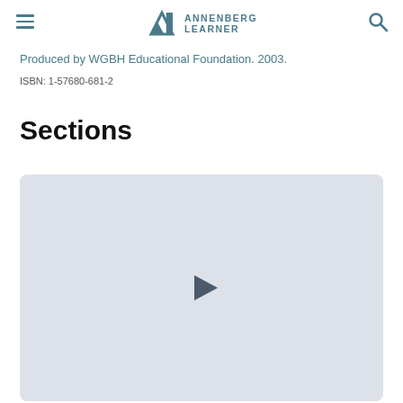Annenberg Learner
Produced by WGBH Educational Foundation. 2003.
ISBN: 1-57680-681-2
Sections
[Figure (screenshot): Video player placeholder with a play button in the center on a light blue-grey background]